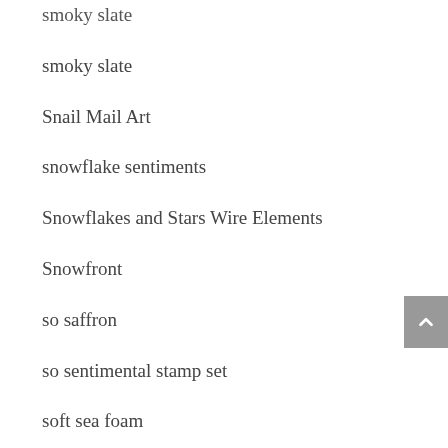smoky slate
smoky slate
Snail Mail Art
snowflake sentiments
Snowflakes and Stars Wire Elements
Snowfront
so saffron
so sentimental stamp set
soft sea foam
Soft Succulent